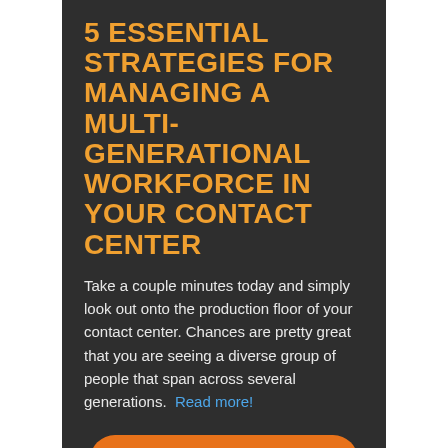5 ESSENTIAL STRATEGIES FOR MANAGING A MULTI-GENERATIONAL WORKFORCE IN YOUR CONTACT CENTER
Take a couple minutes today and simply look out onto the production floor of your contact center. Chances are pretty great that you are seeing a diverse group of people that span across several generations. Read more!
CONTINUE READING
Categories: Customer Experience, Customer Relationship Management, In this week's e-newsletter, Special Report
Tags: customer behavior